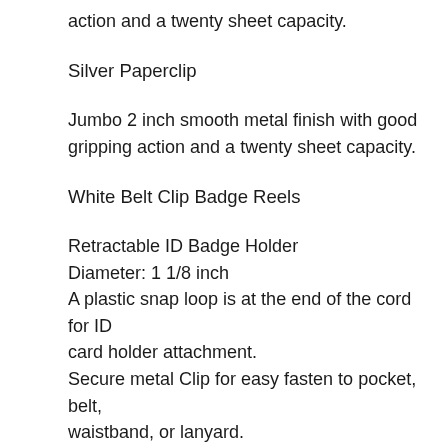action and a twenty sheet capacity.
Silver Paperclip
Jumbo 2 inch smooth metal finish with good gripping action and a twenty sheet capacity.
White Belt Clip Badge Reels
Retractable ID Badge Holder
Diameter: 1 1/8 inch
A plastic snap loop is at the end of the cord for ID card holder attachment.
Secure metal Clip for easy fasten to pocket, belt, waistband, or lanyard.